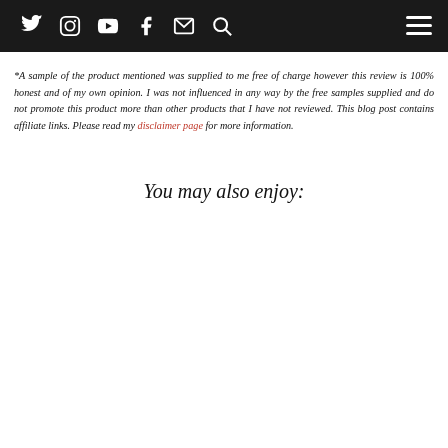[Navigation bar with Twitter, Instagram, YouTube, Facebook, Email, Search icons and hamburger menu]
*A sample of the product mentioned was supplied to me free of charge however this review is 100% honest and of my own opinion. I was not influenced in any way by the free samples supplied and do not promote this product more than other products that I have not reviewed. This blog post contains affiliate links. Please read my disclaimer page for more information.
You may also enjoy: